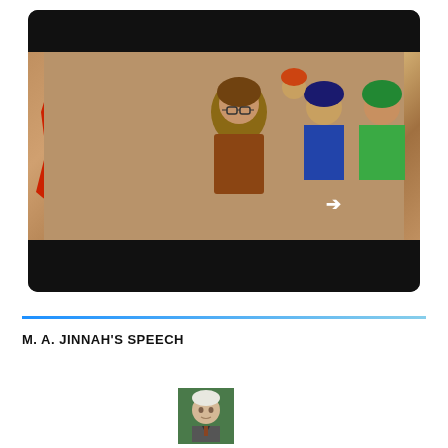[Figure (photo): A protest scene showing women holding a large red sign that reads 'SINDH WANT FREEDOM' with a white circle containing an axe/key symbol. Multiple women in headscarves are visible in the crowd behind. The image is displayed inside a dark video player frame.]
M. A. JINNAH'S SPEECH
[Figure (photo): Small portrait photograph of M. A. Jinnah, showing an older man with white hair, displayed in a green-bordered square thumbnail.]